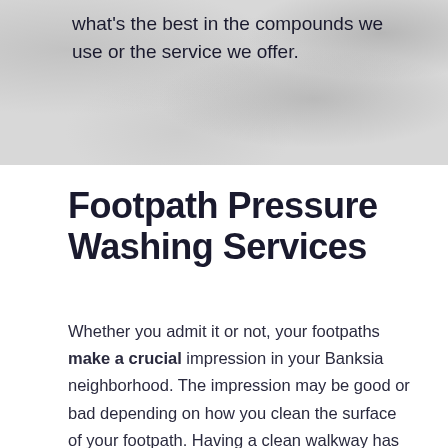[Figure (photo): Background hero image with a mottled grey/stone texture, partial view of a surface]
what's the best in the compounds we use or the service we offer.
Footpath Pressure Washing Services
Whether you admit it or not, your footpaths make a crucial impression in your Banksia neighborhood. The impression may be good or bad depending on how you clean the surface of your footpath. Having a clean walkway has several benefits besides making your home look elegant. Pressure cleaning also gets rid of